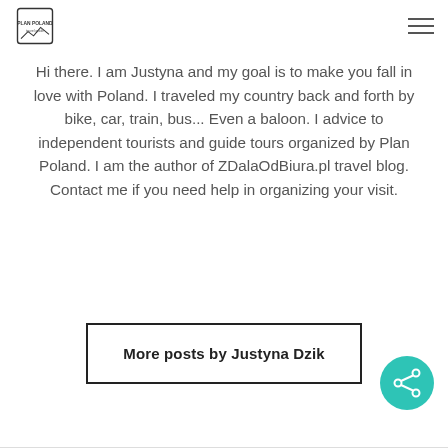Plan Poland logo and hamburger menu
Hi there. I am Justyna and my goal is to make you fall in love with Poland. I traveled my country back and forth by bike, car, train, bus... Even a baloon. I advice to independent tourists and guide tours organized by Plan Poland. I am the author of ZDalaOdBiura.pl travel blog. Contact me if you need help in organizing your visit.
More posts by Justyna Dzik
[Figure (other): Teal circular share/social button with share icon]